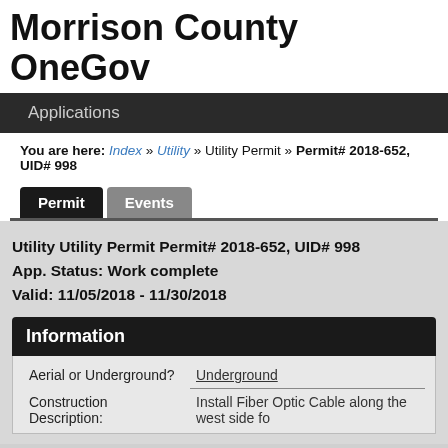Morrison County OneGov
Applications
You are here: Index » Utility » Utility Permit » Permit# 2018-652, UID# 998
Permit   Events
Utility Utility Permit Permit# 2018-652, UID# 998
App. Status: Work complete
Valid: 11/05/2018 - 11/30/2018
Information
| Field | Value |
| --- | --- |
| Aerial or Underground? | Underground |
| Construction Description: | Install Fiber Optic Cable along the west side fo |